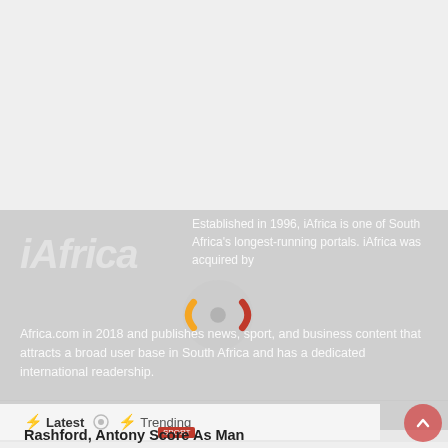9 hours ago
[Figure (screenshot): iAfrica website screenshot showing the iAfrica logo, a loading spinner with orange and red arcs, an about blurb, and a navigation tab bar with Latest and Trending tabs]
Established in 1996, iAfrica is one of South Africa's longest-running portals. iAfrica was acquired by Africa.com in 2018 and publishes news, sport, and business content that attracts a broad user base in South Africa and has a dedicated international readership.
⚡ Latest
⚡ Trending
Rashford, Antony Score As Man